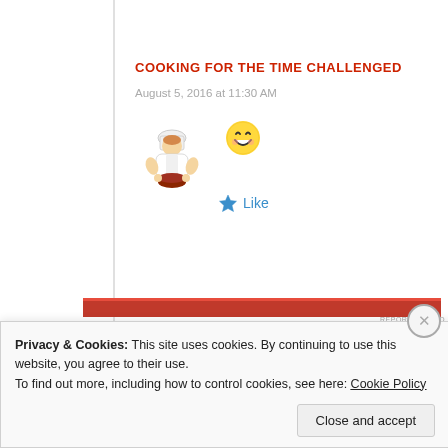COOKING FOR THE TIME CHALLENGED
August 5, 2016 at 11:30 AM
[Figure (illustration): Cartoon chef holding a bowl]
[Figure (illustration): Smiling face emoji]
Like
[Figure (other): Red advertisement banner]
REPORT THIS AD
Privacy & Cookies: This site uses cookies. By continuing to use this website, you agree to their use.
To find out more, including how to control cookies, see here: Cookie Policy
Close and accept